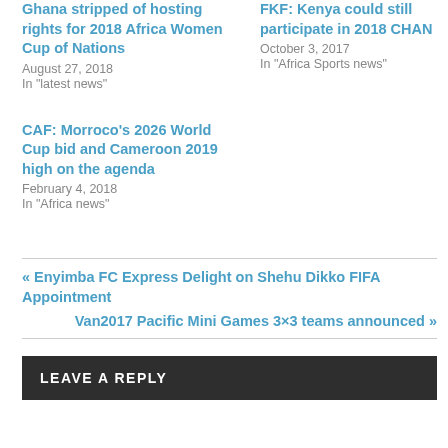Ghana stripped of hosting rights for 2018 Africa Women Cup of Nations
August 27, 2018
In "latest news"
FKF: Kenya could still participate in 2018 CHAN
October 3, 2017
In "Africa Sports news"
CAF: Morroco's 2026 World Cup bid and Cameroon 2019 high on the agenda
February 4, 2018
In "Africa news"
« Enyimba FC Express Delight on Shehu Dikko FIFA Appointment
Van2017 Pacific Mini Games 3×3 teams announced »
LEAVE A REPLY